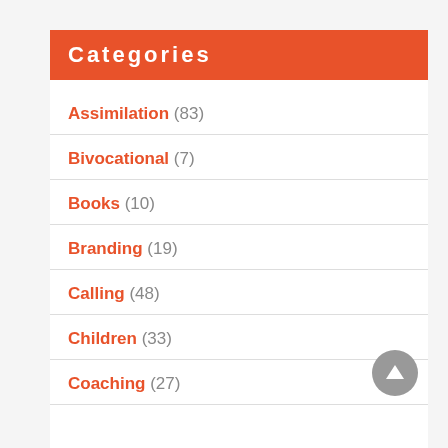Categories
Assimilation (83)
Bivocational (7)
Books (10)
Branding (19)
Calling (48)
Children (33)
Coaching (27)